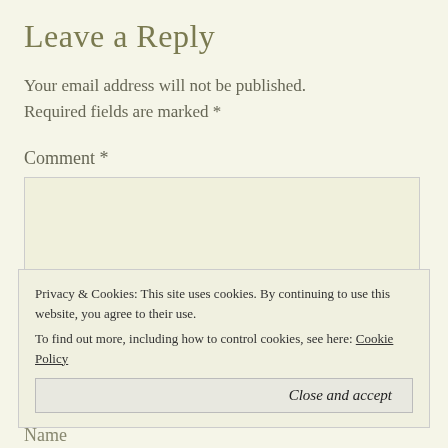Leave a Reply
Your email address will not be published. Required fields are marked *
Comment *
Privacy & Cookies: This site uses cookies. By continuing to use this website, you agree to their use. To find out more, including how to control cookies, see here: Cookie Policy
Close and accept
Name